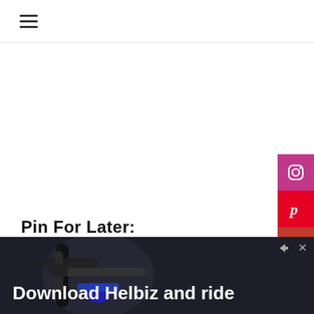☰ (hamburger menu icon)
[Figure (screenshot): Instagram social share button (pink/magenta background with Instagram camera icon)]
[Figure (screenshot): Pinterest social share button (red background with P icon)]
[Figure (screenshot): Email social share button (dark red background with envelope X icon)]
[Figure (screenshot): YouTube social share button (orange-red background with YouTube logo)]
Pin For Later:
[Figure (infographic): Pinterest pin card showing text: - LIFESTYLE REVIEWS - UMBRELLA BASE ABBA PATIO STORE 51LB STEEL UMBRELLA BASE W/ WHEELS]
[Figure (screenshot): Dropdown chevron box and circular thumbnail image]
[Figure (screenshot): Advertisement banner: Download Helbiz and ride, with a scooter handlebar photo in background]